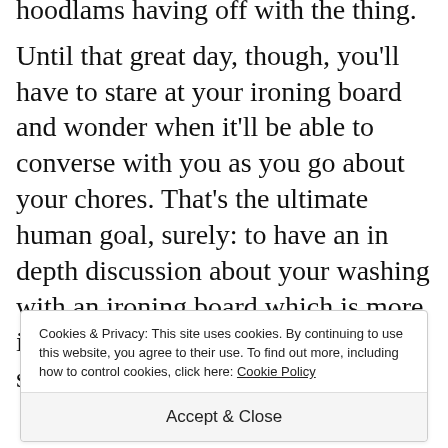hoodlams having off with the thing.
Until that great day, though, you'll have to stare at your ironing board and wonder when it'll be able to converse with you as you go about your chores. That's the ultimate human goal, surely: to have an in depth discussion about your washing with an ironing board which is more intelligent than you are. The singularity has happened!
Cookies & Privacy: This site uses cookies. By continuing to use this website, you agree to their use. To find out more, including how to control cookies, click here: Cookie Policy
Accept & Close